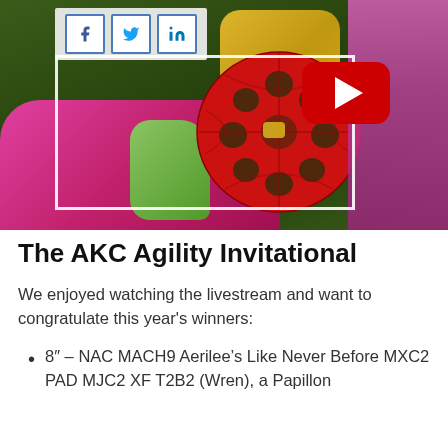[Figure (photo): A colorful photo showing dogs and toys including a red lattice ball on grass, with a pink/magenta area, green and yellow elements, and pink fluffy items to the right. Overlaid with social share buttons (Facebook, Twitter, LinkedIn) and a YouTube play button.]
The AKC Agility Invitational
We enjoyed watching the livestream and want to congratulate this year's winners:
8" – NAC MACH9 Aerilee's Like Never Before MXC2 PAD MJC2 XF T2B2 (Wren), a Papillon